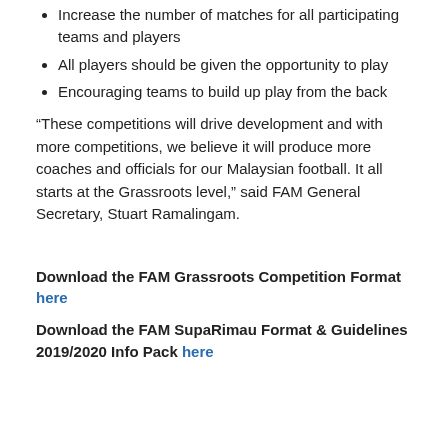Increase the number of matches for all participating teams and players
All players should be given the opportunity to play
Encouraging teams to build up play from the back
“These competitions will drive development and with more competitions, we believe it will produce more coaches and officials for our Malaysian football. It all starts at the Grassroots level,” said FAM General Secretary, Stuart Ramalingam.
Download the FAM Grassroots Competition Format here
Download the FAM SupaRimau Format & Guidelines 2019/2020 Info Pack here